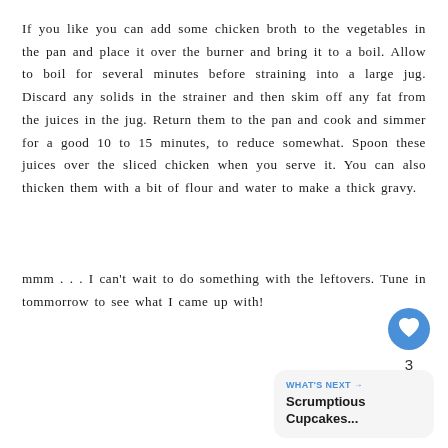If you like you can add some chicken broth to the vegetables in the pan and place it over the burner and bring it to a boil. Allow to boil for several minutes before straining into a large jug. Discard any solids in the strainer and then skim off any fat from the juices in the jug. Return them to the pan and cook and simmer for a good 10 to 15 minutes, to reduce somewhat. Spoon these juices over the sliced chicken when you serve it. You can also thicken them with a bit of flour and water to make a thick gravy.
mmm . . . I can't wait to do something with the leftovers. Tune in tommorrow to see what I came up with!
[Figure (other): Heart (like) button — blue circle with white heart icon]
3
[Figure (other): Share button — circle with share/network icon]
WHAT'S NEXT → Scrumptious Cupcakes...